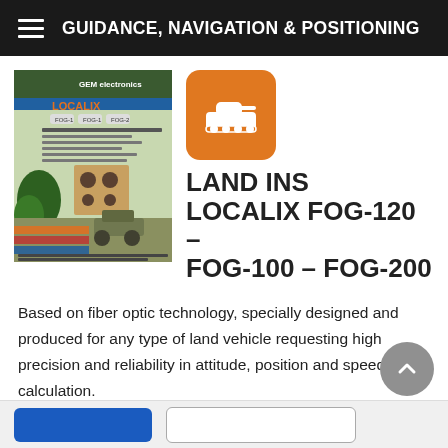GUIDANCE, NAVIGATION & POSITIONING
[Figure (photo): Product brochure cover for LOCALIX FOG-120, FOG-100, FOG-200 land inertial navigation system, showing military vehicles and product unit]
[Figure (illustration): Orange rounded square icon with white military tank silhouette]
LAND INS LOCALIX FOG-120 – FOG-100 – FOG-200
Based on fiber optic technology, specially designed and produced for any type of land vehicle requesting high precision and reliability in attitude, position and speed calculation.